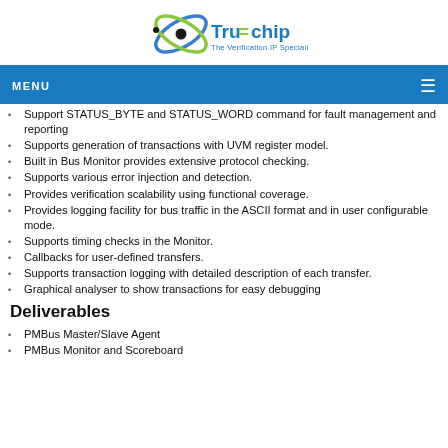Truechip - The Verification IP Specialist
Support STATUS_BYTE and STATUS_WORD command for fault management and reporting
Supports generation of transactions with UVM register model.
Built in Bus Monitor provides extensive protocol checking.
Supports various error injection and detection.
Provides verification scalability using functional coverage.
Provides logging facility for bus traffic in the ASCII format and in user configurable mode.
Supports timing checks in the Monitor.
Callbacks for user-defined transfers.
Supports transaction logging with detailed description of each transfer.
Graphical analyser to show transactions for easy debugging
Deliverables
PMBus Master/Slave Agent
PMBus Monitor and Scoreboard